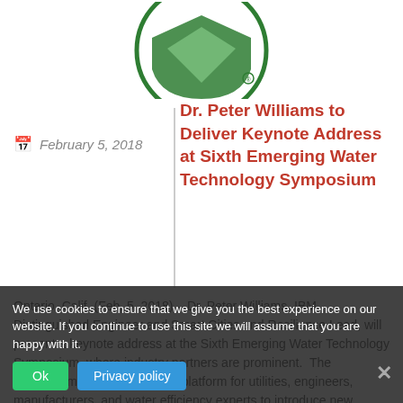[Figure (logo): Green shield/leaf logo at top center]
Dr. Peter Williams to Deliver Keynote Address at Sixth Emerging Water Technology Symposium
February 5, 2018
Ontario, Calif. (Feb. 5, 2018) – Dr. Peter Williams, IBM Distinguished Engineer and Smart Cities and Resilience Lead, will present a keynote address at the Sixth Emerging Water Technology Symposium, where industry leaders, utilities, industry partners are prominent. The symposium, which provides a platform for utilities, engineers, manufacturers, and water efficiency experts to introduce new
We use cookies to ensure that we give you the best experience on our website. If you continue to use this site we will assume that you are happy with it.